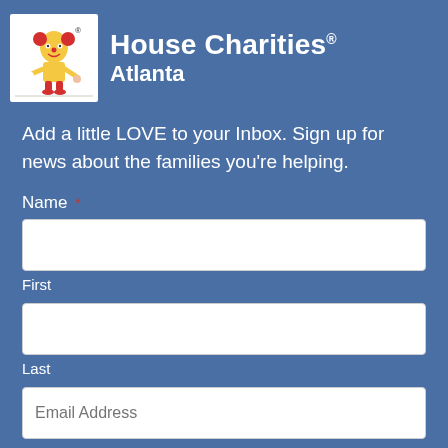[Figure (logo): Ronald McDonald House Charities logo — cartoon Ronald McDonald holding hands with a child, on a white square background, with registered trademark symbol]
House Charities® Atlanta
Add a little LOVE to your Inbox. Sign up for news about the families you're helping.
Name *
First
Last
Email Address